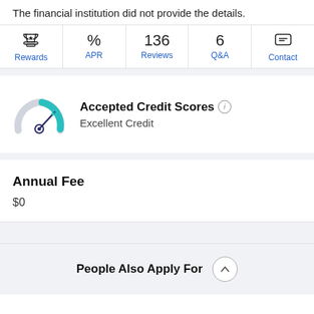The financial institution did not provide the details.
[Figure (infographic): Navigation bar with icons and labels: Rewards (trophy icon), APR (percent icon), Reviews (136), Q&A (6), Contact (chat bubble icon)]
[Figure (infographic): Credit score gauge icon showing Excellent Credit tier highlighted in teal]
Accepted Credit Scores
Excellent Credit
Annual Fee
$0
People Also Apply For